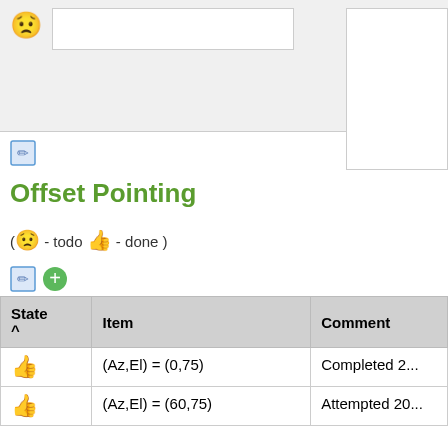[Figure (screenshot): Partial table row showing a worried-face emoji, an input text box, and a comment text area on a gray background]
[Figure (screenshot): Edit pencil icon (blue/pencil on paper)]
Offset Pointing
( 😟 - todo 👍 - done )
[Figure (screenshot): Edit icon and green plus icon]
| State ^ | Item | Comment |
| --- | --- | --- |
| 👍 | (Az,El) = (0,75) | Completed 2... |
| 👍 | (Az,El) = (60,75) | Attempted 20... |